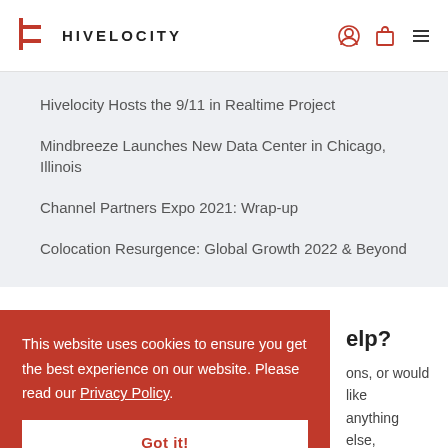HIVELOCITY
Hivelocity Hosts the 9/11 in Realtime Project
Mindbreeze Launches New Data Center in Chicago, Illinois
Channel Partners Expo 2021: Wrap-up
Colocation Resurgence: Global Growth 2022 & Beyond
This website uses cookies to ensure you get the best experience on our website. Please read our Privacy Policy.
Got it!
elp?
ons, or would like anything else, hivelocity.net dentials within the
encrypted field for the best possible security and